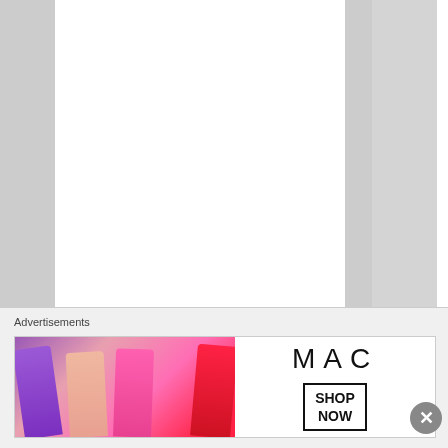[Figure (other): Document page showing vertical text reading 'e t h a t i n t e r a c t i o n .' displayed letter by letter downward in a column, with alternating white and gray vertical panel layout]
Advertisements
[Figure (other): MAC cosmetics advertisement banner showing colorful lipsticks (purple, light pink, hot pink, red) on the left side, MAC logo text in the center, and a SHOP NOW button box on the right]